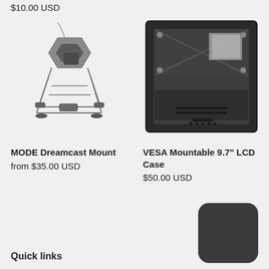$10.00 USD
[Figure (photo): MODE Dreamcast Mount product photo showing a grey 3D-printed bracket/mount with wire structure]
[Figure (photo): VESA Mountable 9.7 inch LCD Case product photo showing a black square case with foam interior and mounting hardware]
MODE Dreamcast Mount
from $35.00 USD
VESA Mountable 9.7" LCD Case
$50.00 USD
Quick links
[Figure (other): Dark rounded square box/icon in bottom right corner]